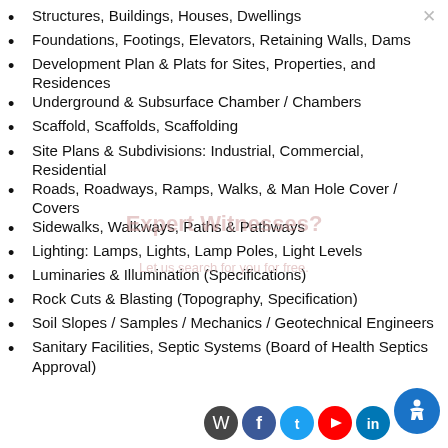Structures, Buildings, Houses, Dwellings
Foundations, Footings, Elevators, Retaining Walls, Dams
Development Plan & Plats for Sites, Properties, and Residences
Underground & Subsurface Chamber / Chambers
Scaffold, Scaffolds, Scaffolding
Site Plans & Subdivisions: Industrial, Commercial, Residential
Roads, Roadways, Ramps, Walks, & Man Hole Cover / Covers
Sidewalks, Walkways, Paths & Pathways
Lighting: Lamps, Lights, Lamp Poles, Light Levels
Luminaries & Illumination (Specifications)
Rock Cuts & Blasting (Topography, Specification)
Soil Slopes / Samples / Mechanics / Geotechnical Engineers
Sanitary Facilities, Septic Systems (Board of Health Septics Approval)